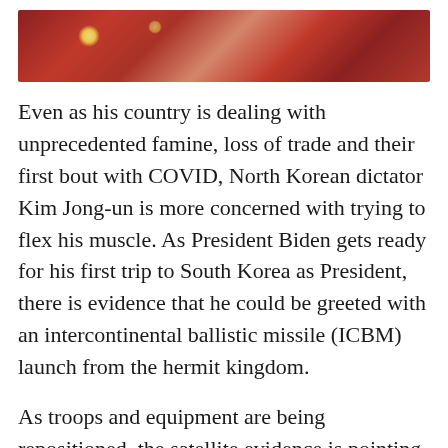[Figure (photo): Reddish-maroon textured image banner at the top of the page, possibly showing a close-up of a surface with warm reddish and cream tones, with two small bright spots resembling light reflections.]
Even as his country is dealing with unprecedented famine, loss of trade and their first bout with COVID, North Korean dictator Kim Jong-un is more concerned with trying to flex his muscle. As President Biden gets ready for his first trip to South Korea as President, there is evidence that he could be greeted with an intercontinental ballistic missile (ICBM) launch from the hermit kingdom.
As troops and equipment are being repositioned, the satellite evidence is pointing to the notion of Kim getting ready to test out the latest in their hardware, with May 19th or 20th being the predicted date of launch. Given Biden's arrival on the 20th, there is concern that this could disrupt his meetings with newly elected South